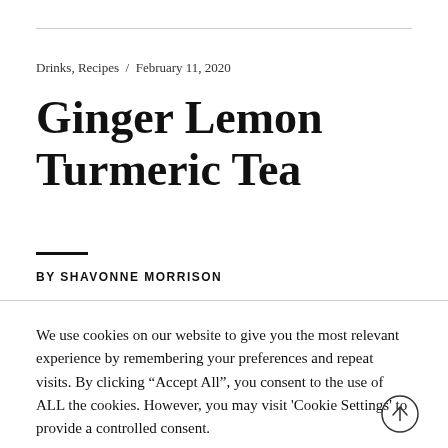Drinks, Recipes  /  February 11, 2020
Ginger Lemon Turmeric Tea
BY SHAVONNE MORRISON
We use cookies on our website to give you the most relevant experience by remembering your preferences and repeat visits. By clicking “Accept All”, you consent to the use of ALL the cookies. However, you may visit 'Cookie Settings' to provide a controlled consent.